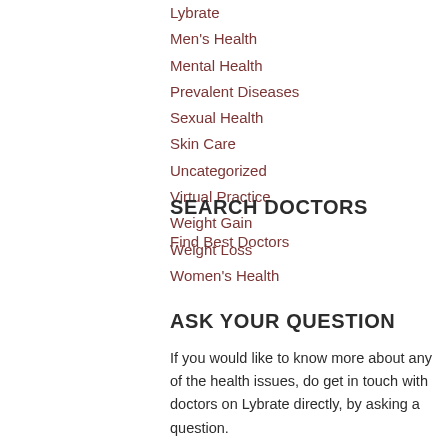Lybrate
Men's Health
Mental Health
Prevalent Diseases
Sexual Health
Skin Care
Uncategorized
Virtual Practice
Weight Gain
Weight Loss
Women's Health
SEARCH DOCTORS
Find Best Doctors
ASK YOUR QUESTION
If you would like to know more about any of the health issues, do get in touch with doctors on Lybrate directly, by asking a question.